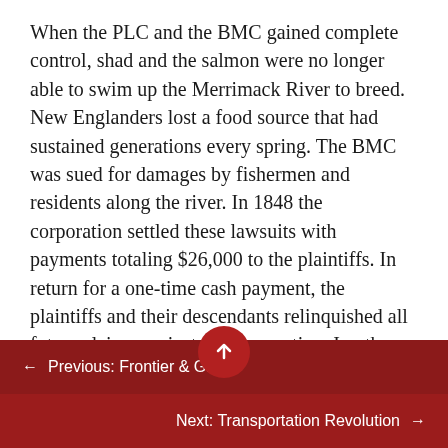When the PLC and the BMC gained complete control, shad and the salmon were no longer able to swim up the Merrimack River to breed. New Englanders lost a food source that had sustained generations every spring. The BMC was sued for damages by fishermen and residents along the river. In 1848 the corporation settled these lawsuits with payments totaling $26,000 to the plaintiffs. In return for a one-time cash payment, the plaintiffs and their descendants relinquished all future claims against the corporation. In other words, for $26,000 the destruction of a major New England fishery was settled once and for all. The fish were gone for good, but the only people compensated were a handful of plaintiffs in a single lawsuit. When the...
← Previous: Frontier & Grid
Next: Transportation Revolution →